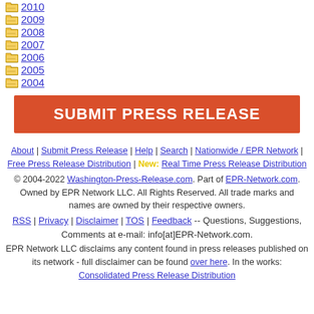2010
2009
2008
2007
2006
2005
2004
[Figure (other): Red banner button labeled SUBMIT PRESS RELEASE]
About | Submit Press Release | Help | Search | Nationwide / EPR Network | Free Press Release Distribution | New: Real Time Press Release Distribution
© 2004-2022 Washington-Press-Release.com. Part of EPR-Network.com. Owned by EPR Network LLC. All Rights Reserved. All trade marks and names are owned by their respective owners.
RSS | Privacy | Disclaimer | TOS | Feedback -- Questions, Suggestions, Comments at e-mail: info[at]EPR-Network.com. EPR Network LLC disclaims any content found in press releases published on its network - full disclaimer can be found over here. In the works: Consolidated Press Release Distribution